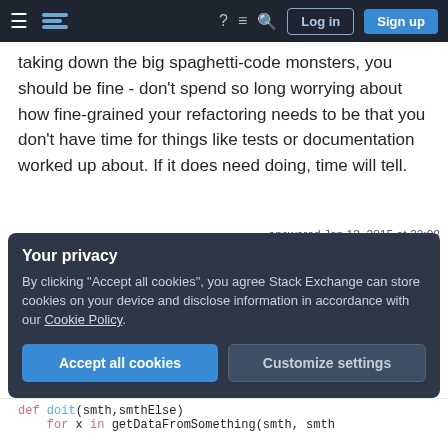Stack Exchange navigation bar with Log in and Sign up buttons
taking down the big spaghetti-code monsters, you should be fine - don't spend so long worrying about how fine-grained your refactoring needs to be that you don't have time for things like tests or documentation worked up about. If it does need doing, time will tell.
Share
Improve this answer
Follow
answered Jan 13, 2015 at 22:08
user52889
1,663 ● 11 ● 13
Add a comment
Your privacy
By clicking "Accept all cookies", you agree Stack Exchange can store cookies on your device and disclose information in accordance with our Cookie Policy.
Accept all cookies  Customize settings
def doit(smth,smthElse):
    for x in getDataFromSomething(smth, smth